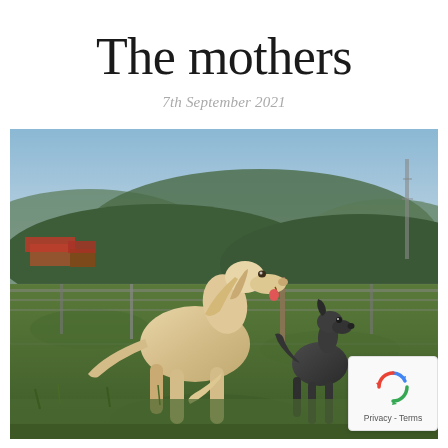The mothers
7th September 2021
[Figure (photo): Two sighthound dogs standing in a grassy field with a wire fence and rolling hills in the background. A large cream-colored Saluki stands on the left, and a smaller dark-colored Italian Greyhound stands on the right.]
Just a lovely moment captured the other day. Our two